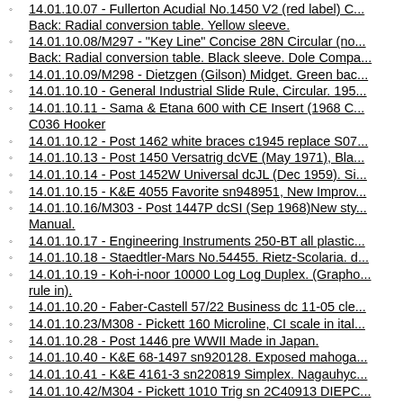14.01.10.07 - Fullerton Acudial No.1450 V2 (red label) C... Back: Radial conversion table. Yellow sleeve.
14.01.10.08/M297 - "Key Line" Concise 28N Circular (no... Back: Radial conversion table. Black sleeve. Dole Compa...
14.01.10.09/M298 - Dietzgen (Gilson) Midget. Green bac...
14.01.10.10 - General Industrial Slide Rule, Circular. 195...
14.01.10.11 - Sama & Etana 600 with CE Insert (1968 C... C036 Hooker
14.01.10.12 - Post 1462 white braces c1945 replace S07...
14.01.10.13 - Post 1450 Versatrig dcVE (May 1971), Bla...
14.01.10.14 - Post 1452W Universal dcJL (Dec 1959). Si...
14.01.10.15 - K&E 4055 Favorite sn948951, New Improv...
14.01.10.16/M303 - Post 1447P dcSI (Sep 1968)New sty... Manual.
14.01.10.17 - Engineering Instruments 250-BT all plastic...
14.01.10.18 - Staedtler-Mars No.54455. Rietz-Scolaria. d...
14.01.10.19 - Koh-i-noor 10000 Log Log Duplex. (Grapho... rule in).
14.01.10.20 - Faber-Castell 57/22 Business dc 11-05 cle...
14.01.10.23/M308 - Pickett 160 Microline, CI scale in ital...
14.01.10.28 - Post 1446 pre WWII Made in Japan.
14.01.10.40 - K&E 68-1497 sn920128. Exposed mahoga...
14.01.10.41 - K&E 4161-3 sn220819 Simplex. Nagauhyc...
14.01.10.42/M304 - Pickett 1010 Trig sn 2C40913 DIEPC... sn3004548.
14.01.10.43 - SIC 1520 Multiphase DecaTrig - S/N 40157...
14.01.10.44 - Acu-Math 1500 Log Log Decimal Trig U.S....
14.01.10.45 - Pickett N4-ES Vector Type LogLog DualBa...